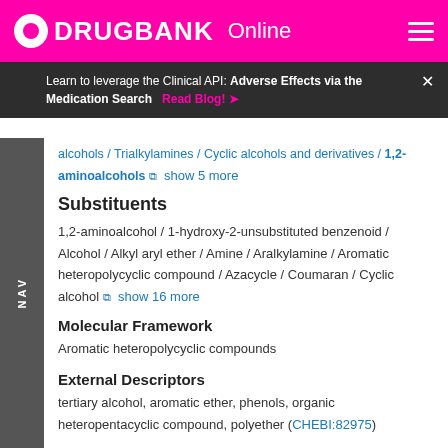DRUGBANK Online
Learn to leverage the Clinical API: Adverse Effects via the Medication Search  Read Blog!
alcohols / Trialkylamines / Cyclic alcohols and derivatives / 1,2-aminoalcohols  show 5 more
Substituents
1,2-aminoalcohol / 1-hydroxy-2-unsubstituted benzenoid / Alcohol / Alkyl aryl ether / Amine / Aralkylamine / Aromatic heteropolycyclic compound / Azacycle / Coumaran / Cyclic alcohol  show 16 more
Molecular Framework
Aromatic heteropolycyclic compounds
External Descriptors
tertiary alcohol, aromatic ether, phenols, organic heteropentacyclic compound, polyether (CHEBI:82975)